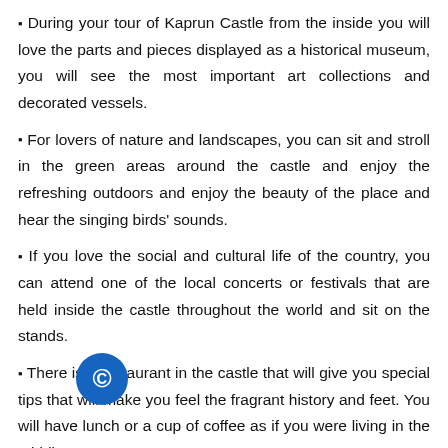During your tour of Kaprun Castle from the inside you will love the parts and pieces displayed as a historical museum, you will see the most important art collections and decorated vessels.
For lovers of nature and landscapes, you can sit and stroll in the green areas around the castle and enjoy the refreshing outdoors and enjoy the beauty of the place and hear the singing birds' sounds.
If you love the social and cultural life of the country, you can attend one of the local concerts or festivals that are held inside the castle throughout the world and sit on the stands.
There is a restaurant in the castle that will give you special ti[...]t will make you feel the fragrant history and feet. You wi[...]e lunch or a cup of coffee as if you were living in the Middle Ages.